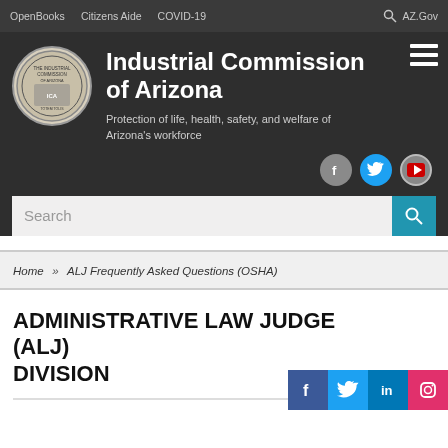OpenBooks   Citizens Aide   COVID-19   AZ.Gov
[Figure (logo): Industrial Commission of Arizona circular seal logo]
Industrial Commission of Arizona
Protection of life, health, safety, and welfare of Arizona's workforce
Home » ALJ Frequently Asked Questions (OSHA)
ADMINISTRATIVE LAW JUDGE (ALJ) DIVISION